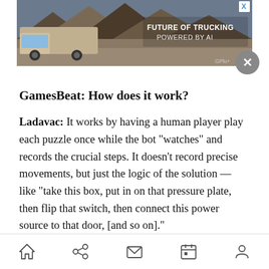[Figure (screenshot): Advertisement banner showing a truck on a desert road with text 'FUTURE OF TRUCKING POWERED BY AI' and a GP+ logo. Has a small X close button in top-right corner.]
GamesBeat: How does it work?
Ladavac: It works by having a human player play each puzzle once while the bot “watches” and records the crucial steps. It doesn’t record precise movements, but just the logic of the solution — like “take this box, put in on that pressure plate, then flip that switch, then connect this power source to that door, [and so on].”
The bot can then later repeat the logic by dynamically handling eventual changes in the level geometry, obstacles, and placement of puzzle
Home Share Mail Calendar Profile